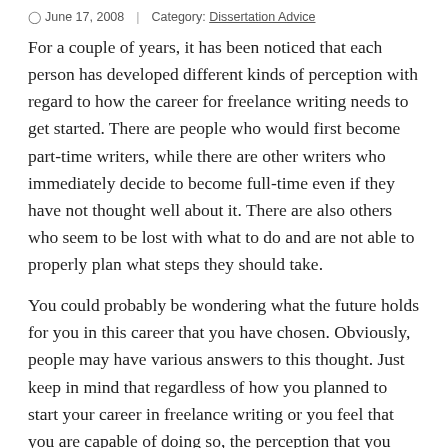June 17, 2008 | Category: Dissertation Advice
For a couple of years, it has been noticed that each person has developed different kinds of perception with regard to how the career for freelance writing needs to get started. There are people who would first become part-time writers, while there are other writers who immediately decide to become full-time even if they have not thought well about it. There are also others who seem to be lost with what to do and are not able to properly plan what steps they should take.
You could probably be wondering what the future holds for you in this career that you have chosen. Obviously, people may have various answers to this thought. Just keep in mind that regardless of how you planned to start your career in freelance writing or you feel that you are capable of doing so, the perception that you have would always be different from another writer, or rather, another person.